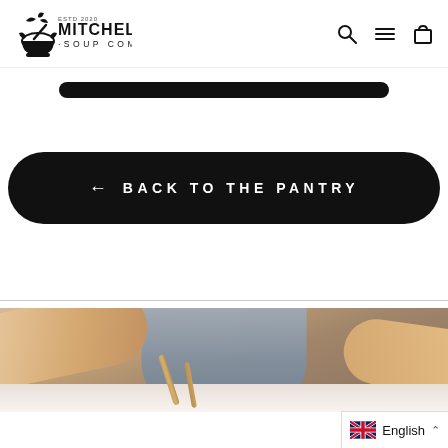Mitchell's Soup Company - Navigation header with logo, search, menu, and cart icons
[Figure (screenshot): Dark pill/button element partially visible at top of page]
← BACK TO THE PANTRY
[Figure (photo): Person wearing grey apron working in kitchen, holding wooden tool on white surface]
English